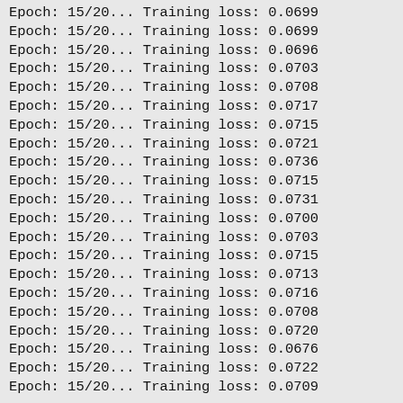Epoch: 15/20... Training loss: 0.0699
Epoch: 15/20... Training loss: 0.0699
Epoch: 15/20... Training loss: 0.0696
Epoch: 15/20... Training loss: 0.0703
Epoch: 15/20... Training loss: 0.0708
Epoch: 15/20... Training loss: 0.0717
Epoch: 15/20... Training loss: 0.0715
Epoch: 15/20... Training loss: 0.0721
Epoch: 15/20... Training loss: 0.0736
Epoch: 15/20... Training loss: 0.0715
Epoch: 15/20... Training loss: 0.0731
Epoch: 15/20... Training loss: 0.0700
Epoch: 15/20... Training loss: 0.0703
Epoch: 15/20... Training loss: 0.0715
Epoch: 15/20... Training loss: 0.0713
Epoch: 15/20... Training loss: 0.0716
Epoch: 15/20... Training loss: 0.0708
Epoch: 15/20... Training loss: 0.0720
Epoch: 15/20... Training loss: 0.0676
Epoch: 15/20... Training loss: 0.0722
Epoch: 15/20... Training loss: 0.0709